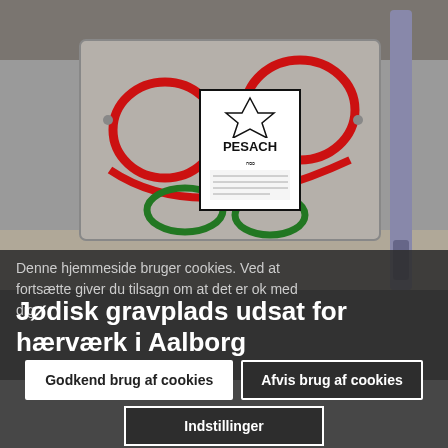[Figure (photo): Photo of a concrete utility box with red and green graffiti and an antisemitic PESACH sticker featuring a Star of David, placed on a street.]
Denne hjemmeside bruger cookies. Ved at fortsætte giver du tilsagn om at det er ok med dig.
Jødisk gravplads udsat for hærværk i Aalborg
Godkend brug af cookies
Afvis brug af cookies
Indstillinger